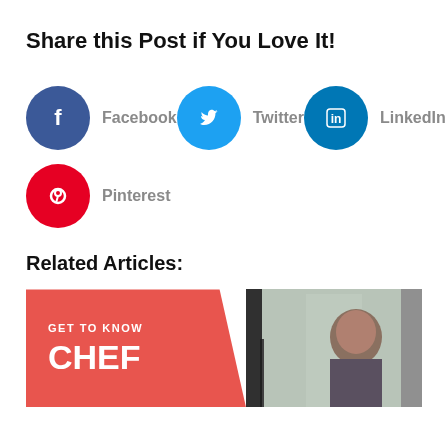Share this Post if You Love It!
[Figure (infographic): Social share buttons: Facebook (blue circle with f icon), Twitter (light blue circle with bird icon), LinkedIn (teal circle with in icon), Pinterest (red circle with P icon), each with label text beside them]
Related Articles:
[Figure (illustration): Article preview card with coral/red background on the left showing 'GET TO KNOW CHEF' text in white, and a photo of a chef on the right side]